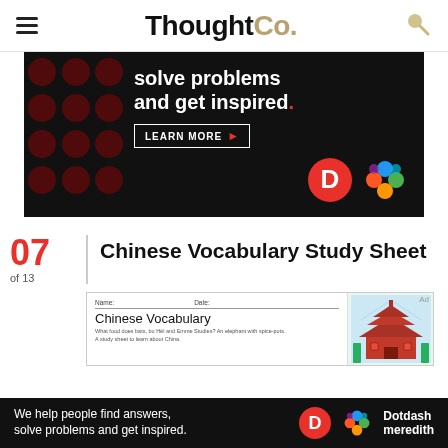ThoughtCo.
[Figure (infographic): Dark advertisement banner reading 'solve problems and get inspired.' with a LEARN MORE button and D/Dotdash Meredith logos]
07 of 13 Chinese Vocabulary Study Sheet
[Figure (screenshot): Preview of Chinese Vocabulary worksheet showing Name/Date fields, title 'Chinese Vocabulary', description text, and a Chinese temple illustration]
[Figure (infographic): Bottom banner: 'We help people find answers, solve problems and get inspired.' with D logo and Dotdash meredith branding]